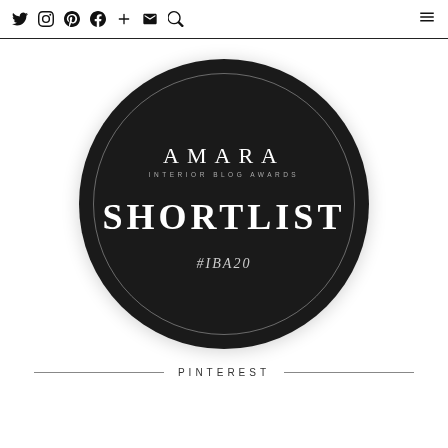Social media icons (Twitter, Instagram, Pinterest, Facebook, Plus, Email, Search) and hamburger menu
[Figure (logo): AMARA INTERIOR BLOG AWARDS SHORTLIST #IBA20 badge — circular dark badge with white text and inner ring]
PINTEREST